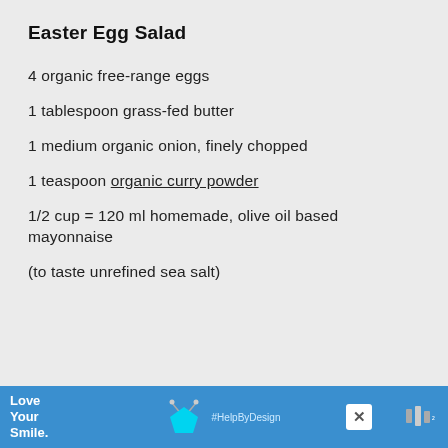Easter Egg Salad
4 organic free-range eggs
1 tablespoon grass-fed butter
1 medium organic onion, finely chopped
1 teaspoon organic curry powder
1/2 cup = 120 ml homemade, olive oil based mayonnaise
(to taste unrefined sea salt)
[Figure (infographic): Green circular heart button with white heart icon, count '1', and white share button with share icon on the right side of the content area]
[Figure (infographic): Blue advertisement banner at the bottom with 'Love Your Smile.' text, cyan pentagon logo shape, #HelpByDesign hashtag, close button, and branded logo on right]